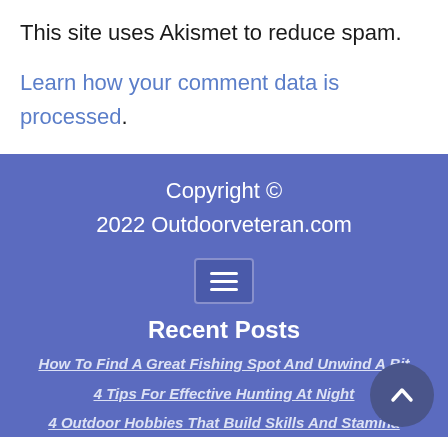This site uses Akismet to reduce spam. Learn how your comment data is processed.
Copyright © 2022 Outdoorveteran.com
Recent Posts
How To Find A Great Fishing Spot And Unwind A Bit
4 Tips For Effective Hunting At Night
4 Outdoor Hobbies That Build Skills And Stamina